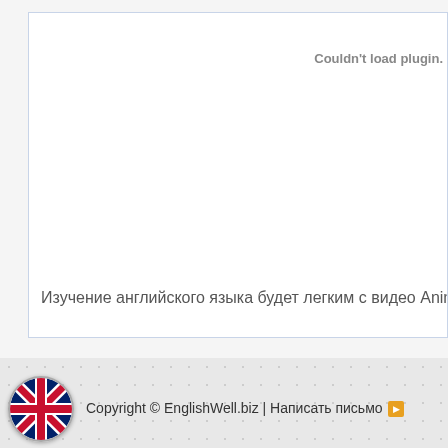[Figure (screenshot): Plugin error area - white content box with blue border showing 'Couldn't load plugin.' error text in gray]
Изучение английского языка будет легким с видео Anima
Copyright © EnglishWell.biz | Написать письмо